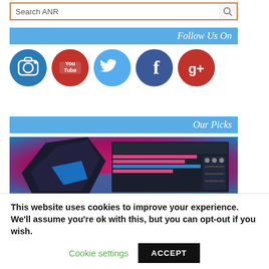Search ANR
Follow Us On
[Figure (infographic): Row of 5 social media icons: Instagram (dark blue circle), YouTube (red circle), Twitter (light blue circle), Facebook (dark blue circle), Google+ (red circle)]
Our Picks
[Figure (photo): Product image showing a dark angular hardware device (audio interface or similar) with a DAW software interface displayed on screen, on a pink/magenta background]
This website uses cookies to improve your experience. We'll assume you're ok with this, but you can opt-out if you wish.
Cookie settings    ACCEPT